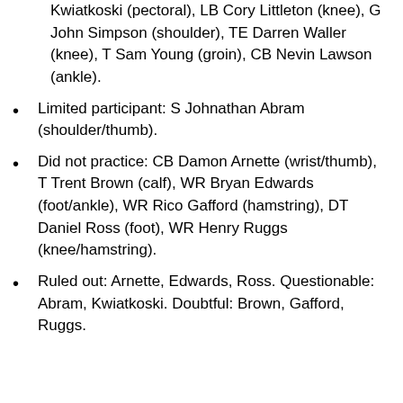Kwiatkoski (pectoral), LB Cory Littleton (knee), G John Simpson (shoulder), TE Darren Waller (knee), T Sam Young (groin), CB Nevin Lawson (ankle).
Limited participant: S Johnathan Abram (shoulder/thumb).
Did not practice: CB Damon Arnette (wrist/thumb), T Trent Brown (calf), WR Bryan Edwards (foot/ankle), WR Rico Gafford (hamstring), DT Daniel Ross (foot), WR Henry Ruggs (knee/hamstring).
Ruled out: Arnette, Edwards, Ross. Questionable: Abram, Kwiatkoski. Doubtful: Brown, Gafford, Ruggs.